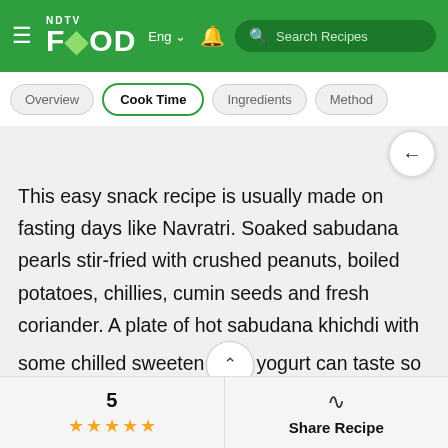NDTV FOOD — Eng | Search Recipes
Overview | Cook Time | Ingredients | Method
This easy snack recipe is usually made on fasting days like Navratri. Soaked sabudana pearls stir-fried with crushed peanuts, boiled potatoes, chillies, cumin seeds and fresh coriander. A plate of hot sabudana khichdi with some chilled sweetened yogurt can taste so good that it you can just have it every other day.
5 ★★★★★  Share Recipe